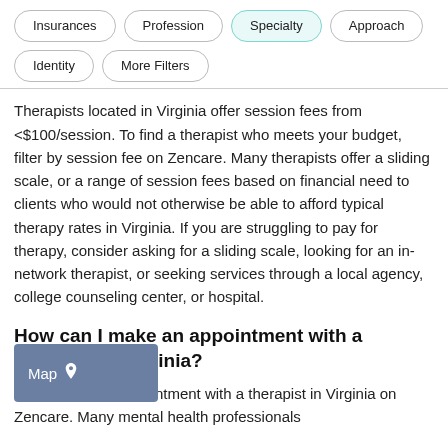[Figure (screenshot): Filter buttons row: Insurances, Profession, Specialty (active/highlighted), Approach, Identity, More Filters]
Therapists located in Virginia offer session fees from <$100/session. To find a therapist who meets your budget, filter by session fee on Zencare. Many therapists offer a sliding scale, or a range of session fees based on financial need to clients who would not otherwise be able to afford typical therapy rates in Virginia. If you are struggling to pay for therapy, consider asking for a sliding scale, looking for an in-network therapist, or seeking services through a local agency, college counseling center, or hospital.
How can I make an appointment with a therapist in Virginia?
[Figure (screenshot): Map overlay button with location pin icon]
...search for an appointment with a therapist in Virginia on Zencare. Many mental health professionals